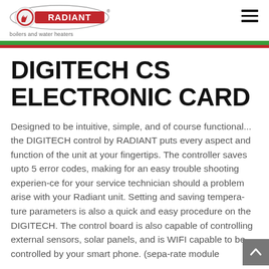RADIANT boilers and water heaters
DIGITECH CS ELECTRONIC CARD
Designed to be intuitive, simple, and of course functional... the DIGITECH control by RADIANT puts every aspect and function of the unit at your fingertips. The controller saves upto 5 error codes, making for an easy trouble shooting experien-ce for your service technician should a problem arise with your Radiant unit. Setting and saving tempera-ture parameters is also a quick and easy procedure on the DIGITECH. The control board is also capable of controlling external sensors, solar panels, and is WIFI capable to be controlled by your smart phone. (sepa-rate module required)